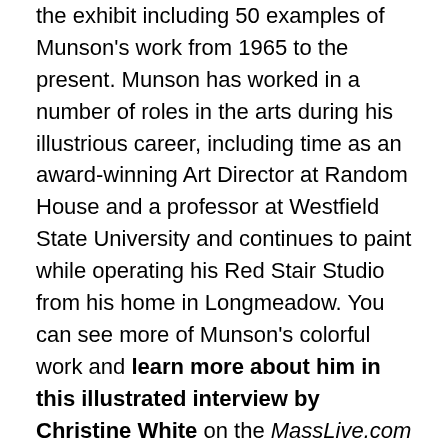the exhibit including 50 examples of Munson's work from 1965 to the present. Munson has worked in a number of roles in the arts during his illustrious career, including time as an award-winning Art Director at Random House and a professor at Westfield State University and continues to paint while operating his Red Stair Studio from his home in Longmeadow. You can see more of Munson's colorful work and learn more about him in this illustrated interview by Christine White on the MassLive.com site – http://www.masslive.com/living/index.ssf/2015/11/longmeadow_artist_donald_munson_marks_five_decades_of_life_on_canvas.html
November 13th – 1) High-speed photography has produced some fascinating images over the years, so it only makes sense that it would find its way into album cover imagery and, in this recent article/interview with